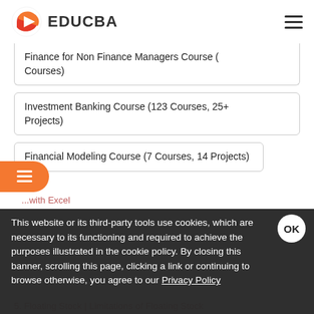EDUCBA
Finance for Non Finance Managers Course (Courses)
Investment Banking Course (123 Courses, 25+ Projects)
Financial Modeling Course (7 Courses, 14 Projects)
1. Examples of Coefficient of Determination Form...
This website or its third-party tools use cookies, which are necessary to its functioning and required to achieve the purposes illustrated in the cookie policy. By closing this banner, scrolling this page, clicking a link or continuing to browse otherwise, you agree to our Privacy Policy
5. Floating Stock | Limitations of Floating Stock